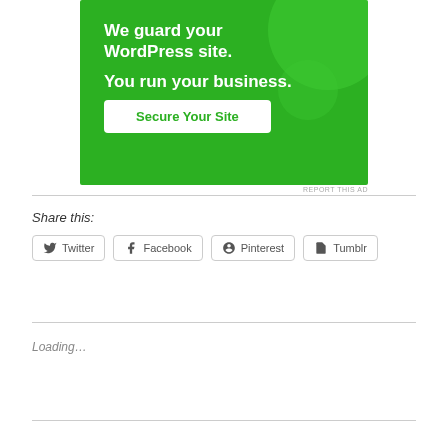[Figure (illustration): Green advertisement banner: 'We guard your WordPress site. You run your business.' with a 'Secure Your Site' button]
REPORT THIS AD
Share this:
Twitter
Facebook
Pinterest
Tumblr
Loading…